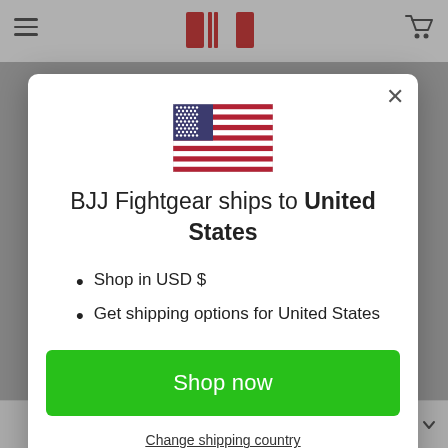[Figure (screenshot): BJJ Fightgear website modal popup with US flag, shipping notice, bullet points and Shop now button]
BJJ Fightgear ships to United States
Shop in USD $
Get shipping options for United States
Shop now
Change shipping country